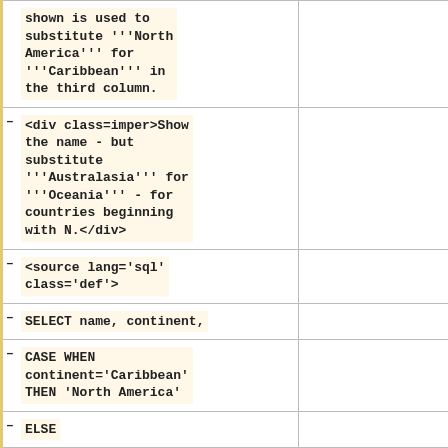| shown is used to substitute '''North America''' for '''Caribbean''' in the third column. |  |
| -<div class=imper>Show the name - but substitute '''Australasia''' for '''Oceania''' - for countries beginning with N.</div> |  |
| -<source lang='sql' class='def'> |  |
| -SELECT name, continent, |  |
| -        CASE WHEN continent='Caribbean' THEN 'North America' |  |
| -        ELSE |  |